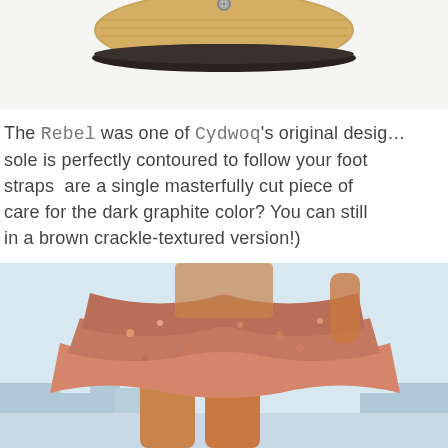[Figure (photo): Close-up of a wooden-soled sandal with dark leather strap and metal rivet, photographed from above on a white background. Only the bottom portion of the shoe is visible, cropped at the top of the page.]
The Rebel was one of Cydwoq's original designs. The sole is perfectly contoured to follow your foot and the straps are a single masterfully cut piece of leather. Don't care for the dark graphite color? You can still get the Rebel in a brown crackle-textured version!)
Of course, for sheer summer simplicity, the barefoot wooden goodness of the Trippen Zen is the answer.
[Figure (photo): A woman wearing a floral/paisley patterned flowing skirt standing outdoors with a city skyline visible in the background. The photo is cropped to show from waist down, in warm sunny lighting.]